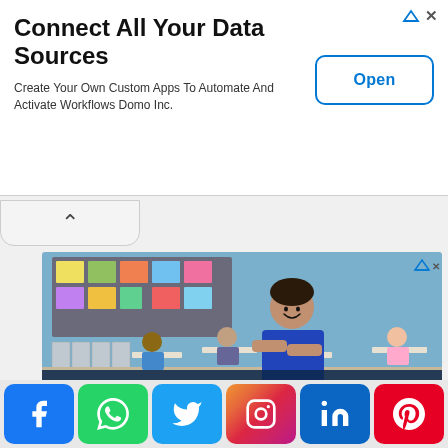[Figure (screenshot): Top advertisement banner: Connect All Your Data Sources - Create Your Own Custom Apps To Automate And Activate Workflows Domo Inc. with Open button]
Connect All Your Data Sources
Create Your Own Custom Apps To Automate And Activate Workflows Domo Inc.
[Figure (photo): Advertisement for George Washington University: A smiling teacher in blue shirt stands arms crossed in a classroom with students. Text overlay: BECOME AN EDUCATION LEADER AT GW]
BECOME AN EDUCATION LEADER AT GW
[Figure (infographic): Social media share bar with Facebook, WhatsApp, Twitter, Instagram, LinkedIn, Pinterest buttons]